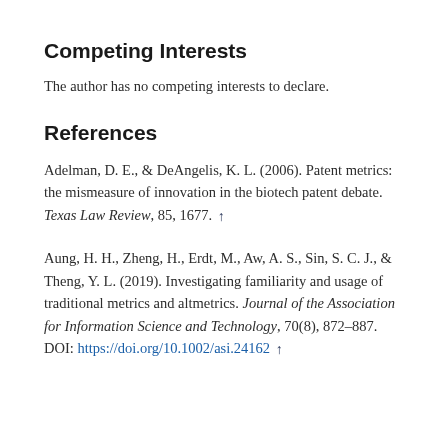Competing Interests
The author has no competing interests to declare.
References
Adelman, D. E., & DeAngelis, K. L. (2006). Patent metrics: the mismeasure of innovation in the biotech patent debate. Texas Law Review, 85, 1677. ↑
Aung, H. H., Zheng, H., Erdt, M., Aw, A. S., Sin, S. C. J., & Theng, Y. L. (2019). Investigating familiarity and usage of traditional metrics and altmetrics. Journal of the Association for Information Science and Technology, 70(8), 872–887. DOI: https://doi.org/10.1002/asi.24162 ↑